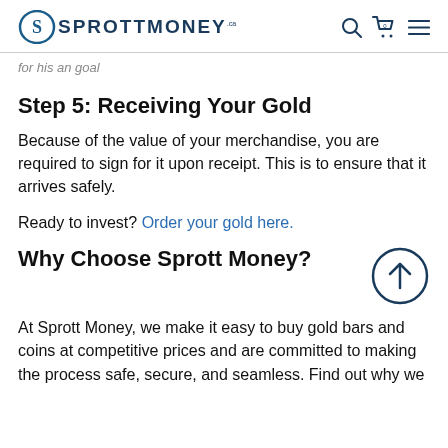SPROTT MONEY
for his an goal
Step 5: Receiving Your Gold
Because of the value of your merchandise, you are required to sign for it upon receipt. This is to ensure that it arrives safely.
Ready to invest? Order your gold here.
Why Choose Sprott Money?
At Sprott Money, we make it easy to buy gold bars and coins at competitive prices and are committed to making the process safe, secure, and seamless. Find out why we